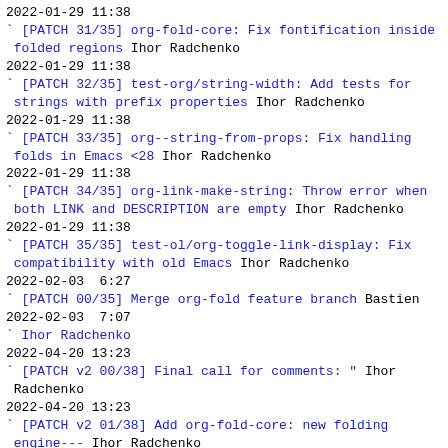2022-01-29 11:38
` [PATCH 31/35] org-fold-core: Fix fontification inside folded regions Ihor Radchenko
2022-01-29 11:38
` [PATCH 32/35] test-org/string-width: Add tests for strings with prefix properties Ihor Radchenko
2022-01-29 11:38
` [PATCH 33/35] org--string-from-props: Fix handling folds in Emacs <28 Ihor Radchenko
2022-01-29 11:38
` [PATCH 34/35] org-link-make-string: Throw error when both LINK and DESCRIPTION are empty Ihor Radchenko
2022-01-29 11:38
` [PATCH 35/35] test-ol/org-toggle-link-display: Fix compatibility with old Emacs Ihor Radchenko
2022-02-03  6:27
` [PATCH 00/35] Merge org-fold feature branch Bastien
2022-02-03  7:07
` Ihor Radchenko
2022-04-20 13:23
` [PATCH v2 00/38] Final call for comments: " Ihor Radchenko
2022-04-20 13:23
` [PATCH v2 01/38] Add org-fold-core: new folding engine--- Ihor Radchenko
2022-04-20 13:24
` [PATCH v2 02/38] Separate folding functions from org.el into new library: org-fold Ihor Radchenko
2022-04-20 13:24
` [PATCH v2 03/38] Separate cycling functions from